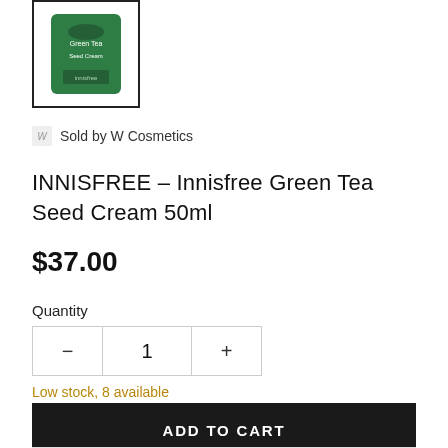[Figure (photo): Product thumbnail of Innisfree green jar cream in a bordered box]
Sold by W Cosmetics
INNISFREE – Innisfree Green Tea Seed Cream 50ml
$37.00
Quantity
- 1 +
Low stock, 8 available
ADD TO CART